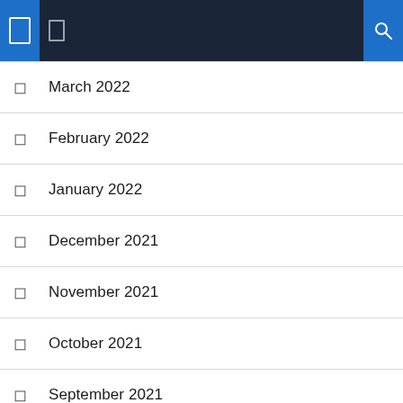Navigation header with menu and search icons
March 2022
February 2022
January 2022
December 2021
November 2021
October 2021
September 2021
August 2021
July 2021